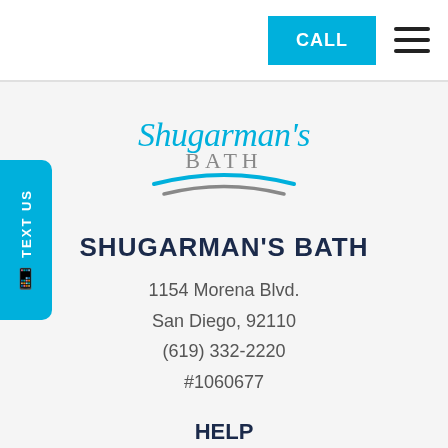CALL [button] [hamburger menu]
[Figure (logo): Shugarman's Bath logo with script text 'Shugarman's' in blue, 'BATH' in gray serif, and blue/gray wave swoosh underneath]
SHUGARMAN'S BATH
1154 Morena Blvd.
San Diego, 92110
(619) 332-2220
#1060677
HELP
Contact